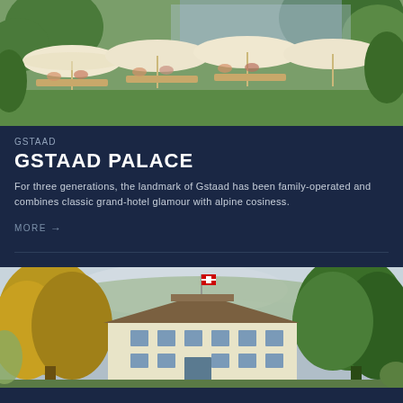[Figure (photo): Outdoor terrace dining area with large cream-colored umbrellas, guests seated at tables, lush green trees and garden surroundings, sunny day]
GSTAAD
GSTAAD PALACE
For three generations, the landmark of Gstaad has been family-operated and combines classic grand-hotel glamour with alpine cosiness.
MORE →
[Figure (photo): Hotel exterior seen through autumn trees with yellow and green foliage, white/cream colored multi-story building with Swiss flag, overcast sky]